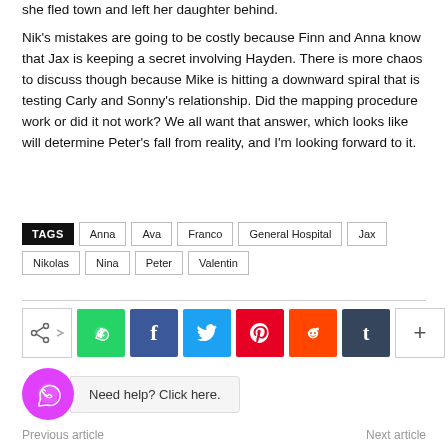she fled town and left her daughter behind.
Nik's mistakes are going to be costly because Finn and Anna know that Jax is keeping a secret involving Hayden. There is more chaos to discuss though because Mike is hitting a downward spiral that is testing Carly and Sonny's relationship. Did the mapping procedure work or did it not work? We all want that answer, which looks like will determine Peter's fall from reality, and I'm looking forward to it.
TAGS  Anna  Ava  Franco  General Hospital  Jax  Nikolas  Nina  Peter  Valentin
[Figure (infographic): Social sharing bar with icons: share (native), WhatsApp, Facebook, Twitter, Pinterest, Reddit, Tumblr, and more (+) button]
[Figure (infographic): WhatsApp help widget: pink circle with WhatsApp icon and 'Need help? Click here.' text]
Previous article    Next article